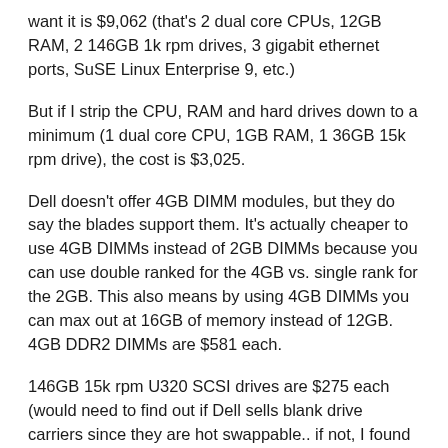want it is $9,062 (that's 2 dual core CPUs, 12GB RAM, 2 146GB 1k rpm drives, 3 gigabit ethernet ports, SuSE Linux Enterprise 9, etc.)
But if I strip the CPU, RAM and hard drives down to a minimum (1 dual core CPU, 1GB RAM, 1 36GB 15k rpm drive), the cost is $3,025.
Dell doesn't offer 4GB DIMM modules, but they do say the blades support them. It's actually cheaper to use 4GB DIMMs instead of 2GB DIMMs because you can use double ranked for the 4GB vs. single rank for the 2GB. This also means by using 4GB DIMMs you can max out at 16GB of memory instead of 12GB. 4GB DDR2 DIMMs are $581 each.
146GB 15k rpm U320 SCSI drives are $275 each (would need to find out if Dell sells blank drive carriers since they are hot swappable.. if not, I found them on eBay for $8.95).